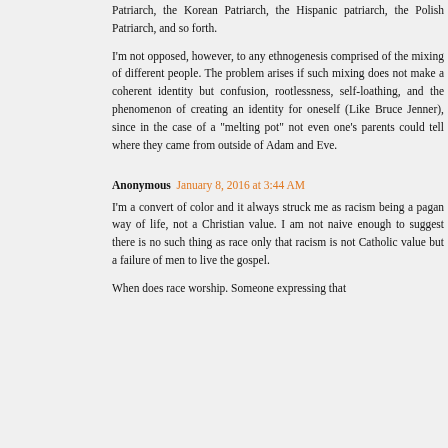Patriarch, the Korean Patriarch, the Hispanic patriarch, the Polish Patriarch, and so forth.
I'm not opposed, however, to any ethnogenesis comprised of the mixing of different people. The problem arises if such mixing does not make a coherent identity but confusion, rootlessness, self-loathing, and the phenomenon of creating an identity for oneself (Like Bruce Jenner), since in the case of a "melting pot" not even one's parents could tell where they came from outside of Adam and Eve.
Anonymous January 8, 2016 at 3:44 AM
I'm a convert of color and it always struck me as racism being a pagan way of life, not a Christian value. I am not naive enough to suggest there is no such thing as race only that racism is not Catholic value but a failure of men to live the gospel.
When does race worship. Someone expressing that